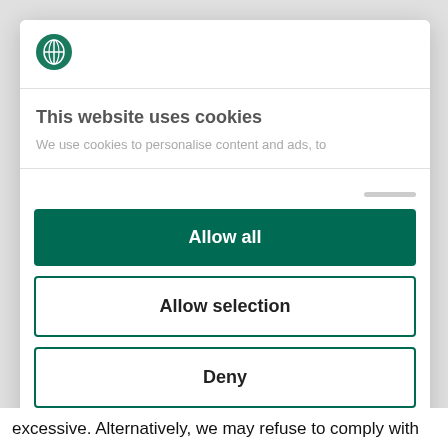[Figure (logo): Green circle logo with a leaf/globe icon]
This website uses cookies
We use cookies to personalise content and ads, to
Allow all
Allow selection
Deny
Powered by Cookiebot by Usercentrics
excessive. Alternatively, we may refuse to comply with